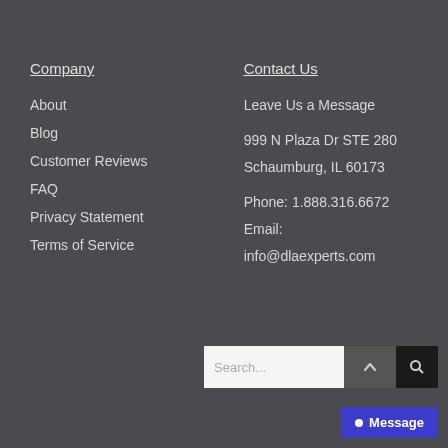Company
About
Blog
Customer Reviews
FAQ
Privacy Statement
Terms of Service
Contact Us
Leave Us a Message
999 N Plaza Dr STE 280
Schaumburg, IL 60173
Phone: 1.888.316.6672
Email:
info@dlaexperts.com
[Figure (screenshot): Search bar with up arrow button and search icon button]